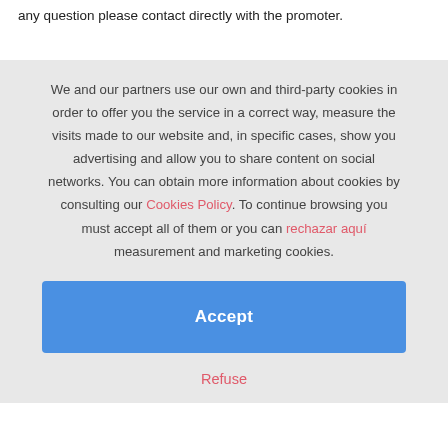any question please contact directly with the promoter.
We and our partners use our own and third-party cookies in order to offer you the service in a correct way, measure the visits made to our website and, in specific cases, show you advertising and allow you to share content on social networks. You can obtain more information about cookies by consulting our Cookies Policy. To continue browsing you must accept all of them or you can rechazar aquí measurement and marketing cookies.
Accept
Refuse